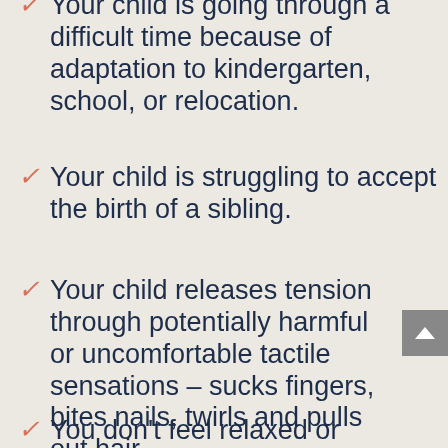Your child is going through a difficult time because of adaptation to kindergarten, school, or relocation.
Your child is struggling to accept the birth of a sibling.
Your child releases tension through potentially harmful or uncomfortable tactile sensations – sucks fingers, bites nails, twirls and pulls out hair.
You don't feel relaxed or ...